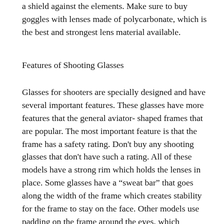a shield against the elements. Make sure to buy goggles with lenses made of polycarbonate, which is the best and strongest lens material available.
Features of Shooting Glasses
Glasses for shooters are specially designed and have several important features. These glasses have more features that the general aviator- shaped frames that are popular. The most important feature is that the frame has a safety rating. Don't buy any shooting glasses that don't have such a rating. All of these models have a strong rim which holds the lenses in place. Some glasses have a “sweat bar” that goes along the width of the frame which creates stability for the frame to stay on the face. Other models use padding on the frame around the eyes, which cushions the frame on your face. This protects your face from gun recoil. Additionally, it adds to the protection against the elements.